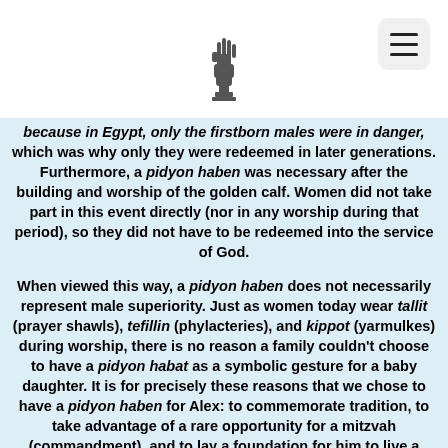[Logo icon]
because in Egypt, only the firstborn males were in danger, which was why only they were redeemed in later generations. Furthermore, a pidyon haben was necessary after the building and worship of the golden calf. Women did not take part in this event directly (nor in any worship during that period), so they did not have to be redeemed into the service of God.
When viewed this way, a pidyon haben does not necessarily represent male superiority. Just as women today wear tallit (prayer shawls), tefillin (phylacteries), and kippot (yarmulkes) during worship, there is no reason a family couldn't choose to have a pidyon habat as a symbolic gesture for a baby daughter. It is for precisely these reasons that we chose to have a pidyon haben for Alex: to commemorate tradition, to take advantage of a rare opportunity for a mitzvah (commandment), and to lay a foundation for him to live a meaningful life within the Jewish community and beyond.